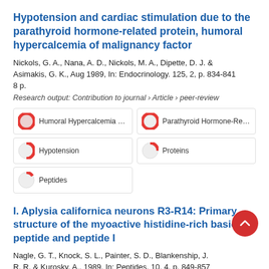Hypotension and cardiac stimulation due to the parathyroid hormone-related protein, humoral hypercalcemia of malignancy factor
Nickols, G. A., Nana, A. D., Nickols, M. A., Dipette, D. J. & Asimakis, G. K., Aug 1989, In: Endocrinology. 125, 2, p. 834-841 8 p.
Research output: Contribution to journal › Article › peer-review
[Figure (infographic): Keyword badges: Humoral Hypercalcemia Of Ma (100%), Parathyroid Hormone-Related P (100%), Hypotension (50%), Proteins (25%), Peptides (25%)]
I. Aplysia californica neurons R3-R14: Primary structure of the myoactive histidine-rich basic peptide and peptide I
Nagle, G. T., Knock, S. L., Painter, S. D., Blankenship, J. R. R. & Kurosky, A., 1989, In: Peptides. 10, 4, p. 849-857
Research output: Contribution to journal › Article › peer-review